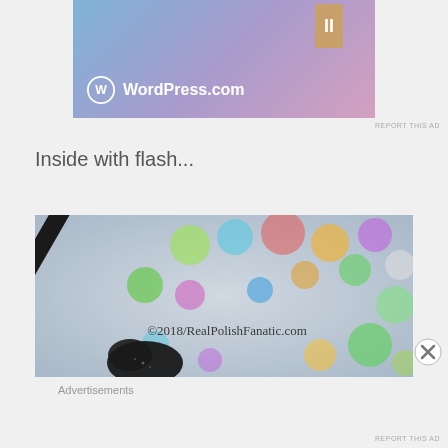[Figure (screenshot): WordPress.com advertisement banner with gradient blue-purple-pink background, WordPress logo (white circle with W), WordPress.com text in white, and a Scrabble-like tile with letter I in the upper right]
REPORT THIS AD
Inside with flash...
[Figure (photo): Close-up photo of a dark/black nail polish bottle with brush handle against a blurred bokeh background with colorful circles (green, yellow, blue, purple, red, orange). Watermark reads ©2018/RealPolishFanatic.com]
Advertisements
REPORT THIS AD